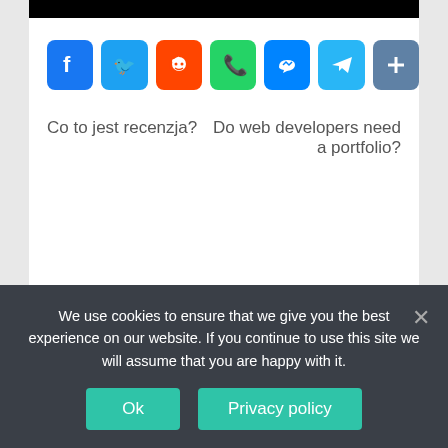[Figure (screenshot): Black bar at top of main card]
[Figure (infographic): Row of social share icon buttons: Facebook (blue), Twitter (blue), Reddit (orange-red), WhatsApp (green), Messenger (blue), Telegram (blue), Share/plus (blue-gray)]
Co to jest recenzja?
Do web developers need a portfolio?
Recent Posts
We use cookies to ensure that we give you the best experience on our website. If you continue to use this site we will assume that you are happy with it.
Ok
Privacy policy